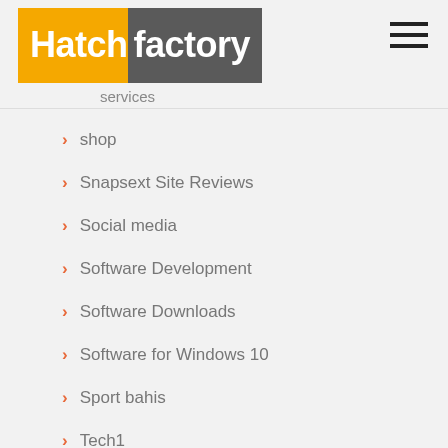Hatchfactory
shop
Snapsext Site Reviews
Social media
Software Development
Software Downloads
Software for Windows 10
Sport bahis
Tech1
Test